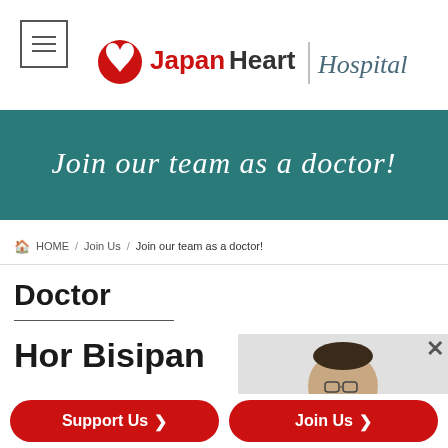[Figure (logo): Japan Heart Hospital logo with red heart circle icon, 'Japan' in red, 'Heart' in dark gray, divider line, and 'Hospital' in italic script]
[Figure (illustration): Teal/dark cyan banner with italic white script text 'Join our team as a doctor!']
HOME / Join Us / Join our team as a doctor!
Doctor
Hor Bisipan
[Figure (photo): Photo of a man wearing glasses, partially shown in gray background box with X close button]
Pediatric Surgeon
Support Us ❯
Join Us ❯